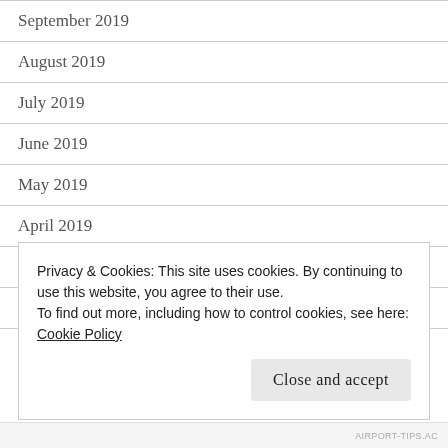September 2019
August 2019
July 2019
June 2019
May 2019
April 2019
March 2019
February 2019
January 2019
Privacy & Cookies: This site uses cookies. By continuing to use this website, you agree to their use.
To find out more, including how to control cookies, see here:
Cookie Policy
Close and accept
AIRPORT-TIPS.AC